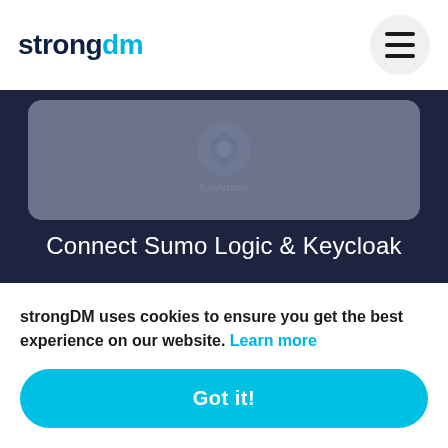strongdm
[Figure (illustration): Faded Keycloak logo icon partially visible in header card area]
Connect Sumo Logic & Keycloak
[Figure (logo): Sumo Logic logo: three red mountain/triangle shapes on grey card background]
strongDM uses cookies to ensure you get the best experience on our website. Learn more
Got it!